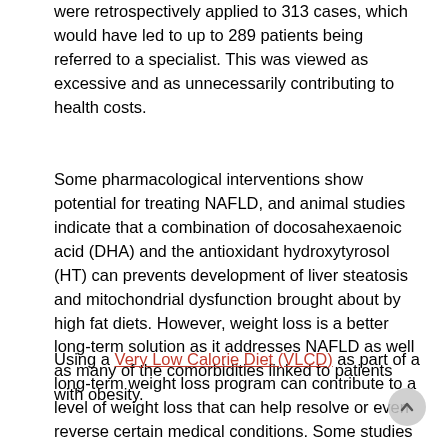were retrospectively applied to 313 cases, which would have led to up to 289 patients being referred to a specialist. This was viewed as excessive and as unnecessarily contributing to health costs.
Some pharmacological interventions show potential for treating NAFLD, and animal studies indicate that a combination of docosahexaenoic acid (DHA) and the antioxidant hydroxytyrosol (HT) can prevents development of liver steatosis and mitochondrial dysfunction brought about by high fat diets. However, weight loss is a better long-term solution as it addresses NAFLD as well as many of the comorbidities linked to patients with obesity.
Using a Very Low Calorie Diet (VLCD) as part of a long-term weight loss program can contribute to a level of weight loss that can help resolve or even reverse certain medical conditions. Some studies have found that a VLCD, used under close medical supervision, can be well-tolerated and offer a safe weight loss alternative for patients awaiting liver transplantation.